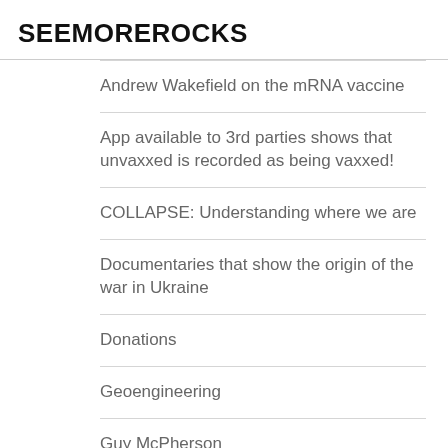SEEMOREROCKS
Andrew Wakefield on the mRNA vaccine
App available to 3rd parties shows that unvaxxed is recorded as being vaxxed!
COLLAPSE: Understanding where we are
Documentaries that show the origin of the war in Ukraine
Donations
Geoengineering
Guy McPherson
JOIN ME ON TELEGRAM
Mike Ruppert